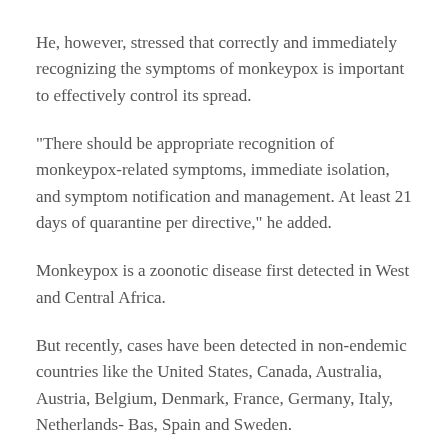He, however, stressed that correctly and immediately recognizing the symptoms of monkeypox is important to effectively control its spread.
“There should be appropriate recognition of monkeypox-related symptoms, immediate isolation, and symptom notification and management. At least 21 days of quarantine per directive,” he added.
Monkeypox is a zoonotic disease first detected in West and Central Africa.
But recently, cases have been detected in non-endemic countries like the United States, Canada, Australia, Austria, Belgium, Denmark, France, Germany, Italy, Netherlands- Bas, Spain and Sweden.
Symptoms of monkeypox include fever, severe headache,